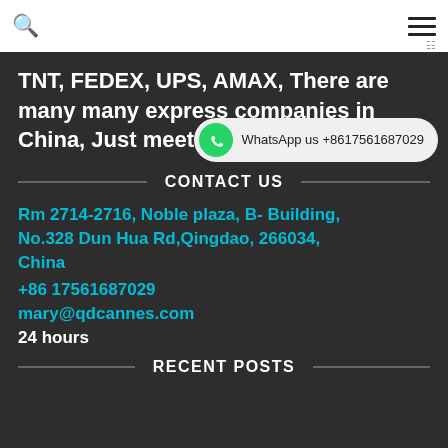Navigation bar with search icon and hamburger menu
TNT, FEDEX, UPS, AMAX, There are many many express companies in China, Just meet your request.
[Figure (infographic): WhatsApp button with phone icon and text: WhatsApp us +8617561687029]
CONTACT US
Rm 2714-2716, Noble plaza, B- Building, No.328 Dun Hua Rd,Qingdao, 266034, China
+86 17561687029
mary@qdcannes.com
24 hours
RECENT POSTS